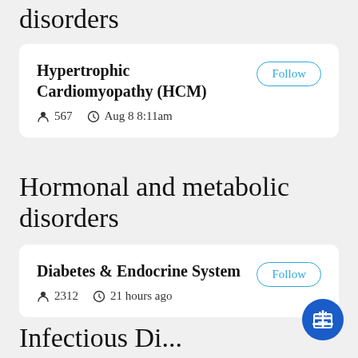disorders
Hypertrophic Cardiomyopathy (HCM) — Follow — 567 followers — Aug 8 8:11am
Hormonal and metabolic disorders
Diabetes & Endocrine System — Follow — 2312 followers — 21 hours ago
Infectious Di...